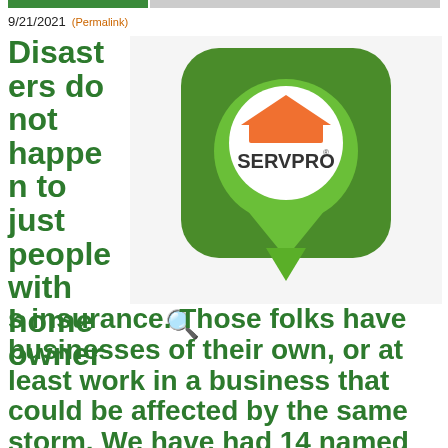9/21/2021 (Permalink)
Disasters do not happen to just people with homeowners insurance. Those folks have businesses of their own, or at least work in a business that could be affected by the same storm. We have had 14 named
[Figure (logo): SERVPRO app icon logo — green rounded square with a green location pin/map marker containing a white circle with an orange roof/house shape and the text SERVPRO in dark lettering]